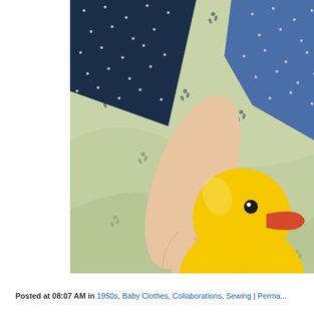[Figure (photo): A baby's hand holding a yellow rubber duck toy, resting on a light green floral-patterned fabric. A dark blue dotted fabric is visible in the upper portion of the image.]
Posted at 08:07 AM in 1950s, Baby Clothes, Collaborations, Sewing | Perma...